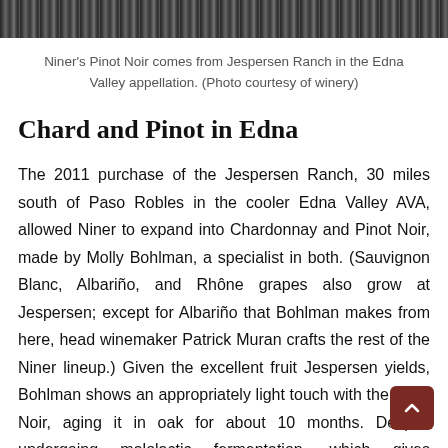[Figure (photo): Top strip of a photo showing a crowd or vineyard scene in dark tones]
Niner's Pinot Noir comes from Jespersen Ranch in the Edna Valley appellation. (Photo courtesy of winery)
Chard and Pinot in Edna
The 2011 purchase of the Jespersen Ranch, 30 miles south of Paso Robles in the cooler Edna Valley AVA, allowed Niner to expand into Chardonnay and Pinot Noir, made by Molly Bohlman, a specialist in both. (Sauvignon Blanc, Albariño, and Rhône grapes also grow at Jespersen; except for Albariño that Bohlman makes from here, head winemaker Patrick Muran crafts the rest of the Niner lineup.) Given the excellent fruit Jespersen yields, Bohlman shows an appropriately light touch with the Pinot Noir, aging it in oak for about 10 months. Despite undergoing malolactic fermentation, which gives Chardonnay its creamy notes, the Niner reserve version comes off